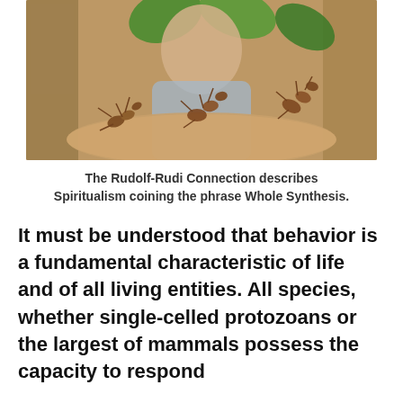[Figure (photo): Elderly man leaning over a wooden surface with large oversized ants on it, holding green leaves, set in a room with bookshelves in the background.]
The Rudolf-Rudi Connection describes Spiritualism coining the phrase Whole Synthesis.
It must be understood that behavior is a fundamental characteristic of life and of all living entities. All species, whether single-celled protozoans or the largest of mammals possess the capacity to respond